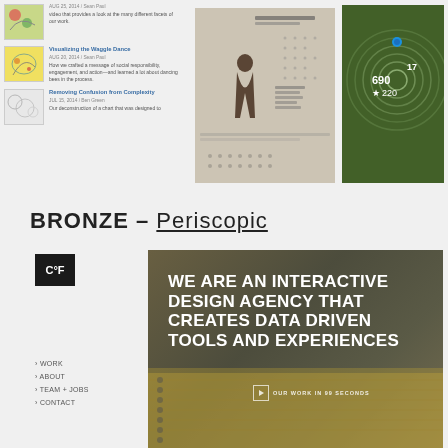[Figure (screenshot): Blog list with thumbnail images and article titles including 'Visualizing the Waggle Dance' and 'Removing Confusion from Complexity']
[Figure (screenshot): Middle website screenshot showing a data visualization with a human figure silhouette]
[Figure (screenshot): Right website screenshot showing concentric circles visualization on green background with numbers 690, 17, 220]
BRONZE – Periscopic
[Figure (screenshot): Periscopic website screenshot showing 'WE ARE AN INTERACTIVE DESIGN AGENCY THAT CREATES DATA DRIVEN TOOLS AND EXPERIENCES' tagline with a C°F logo and navigation links: WORK, ABOUT, TEAM + JOBS, CONTACT and a video button 'OUR WORK IN 99 SECONDS']